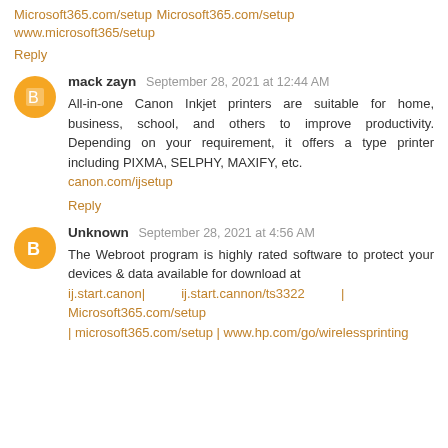Microsoft365.com/setup
Microsoft365.com/setup
www.microsoft365/setup
Reply
mack zayn  September 28, 2021 at 12:44 AM
All-in-one Canon Inkjet printers are suitable for home, business, school, and others to improve productivity. Depending on your requirement, it offers a type printer including PIXMA, SELPHY, MAXIFY, etc.
canon.com/ijsetup
Reply
Unknown  September 28, 2021 at 4:56 AM
The Webroot program is highly rated software to protect your devices & data available for download at
ij.start.canon|          ij.start.cannon/ts3322          |
Microsoft365.com/setup
| microsoft365.com/setup | www.hp.com/go/wirelessprinting